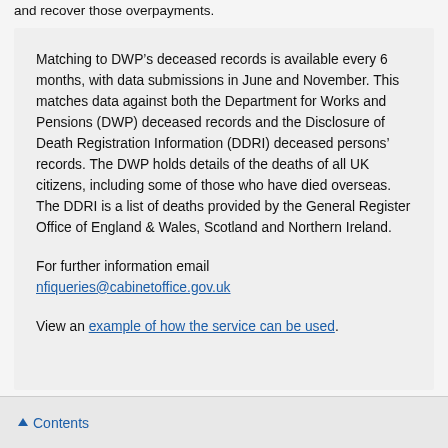and recover those overpayments.
Matching to DWP’s deceased records is available every 6 months, with data submissions in June and November. This matches data against both the Department for Works and Pensions (DWP) deceased records and the Disclosure of Death Registration Information (DDRI) deceased persons’ records. The DWP holds details of the deaths of all UK citizens, including some of those who have died overseas. The DDRI is a list of deaths provided by the General Register Office of England & Wales, Scotland and Northern Ireland.
For further information email nfiqueries@cabinetoffice.gov.uk
View an example of how the service can be used.
Contents